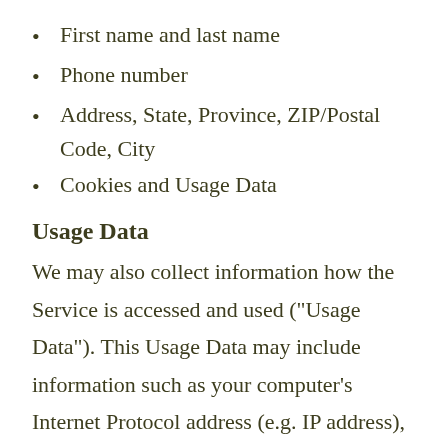First name and last name
Phone number
Address, State, Province, ZIP/Postal Code, City
Cookies and Usage Data
Usage Data
We may also collect information how the Service is accessed and used ("Usage Data"). This Usage Data may include information such as your computer's Internet Protocol address (e.g. IP address), browser type, browser version, the pages of our Service